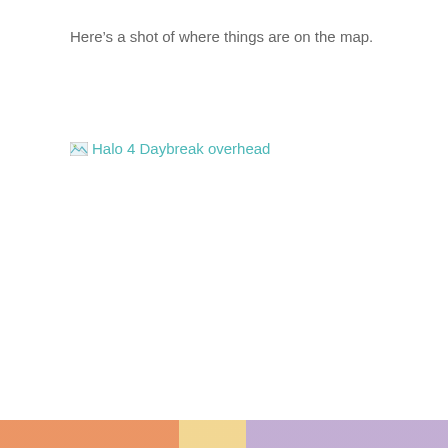Here’s a shot of where things are on the map.
[Figure (other): Broken image placeholder with alt text 'Halo 4 Daybreak overhead' shown as a teal/cyan colored link text with a broken image icon]
For the full post check it out at Waypoint.
Privacy & Cookies: This site uses cookies. By continuing to use this website, you agree to their use.
To find out more, including how to control cookies, see here: Cookie Policy
Close and accept